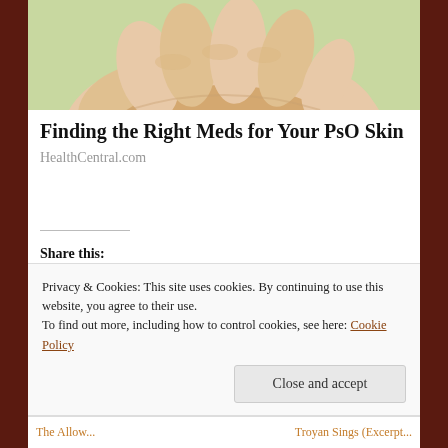[Figure (photo): Close-up photo of cupped hands over a light green background]
Finding the Right Meds for Your PsO Skin
HealthCentral.com
Share this:
[Figure (infographic): Social share icons: Facebook (blue circle), Print (grey circle), Twitter (blue circle)]
Privacy & Cookies: This site uses cookies. By continuing to use this website, you agree to their use.
To find out more, including how to control cookies, see here: Cookie Policy
Close and accept
The Allow...    Troyan Sings (Excerpt...